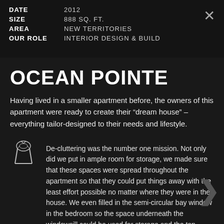| DATE | 2012 |
| SIZE | 888 SQ. FT. |
| AREA | NEW TERRITORIES |
| OUR ROLE | INTERIOR DESIGN & BUILD |
OCEAN POINTE
Having lived in a smaller apartment before, the owners of this apartment were ready to create their “dream house” – everything tailor-designed to their needs and lifestyle.
De-cluttering was the number one mission. Not only did we put in ample room for storage, we made sure that these spaces were spread throughout the apartment so that they could put things away with the least effort possible no matter where they were in the house. We even filled in the semi-circular bay window in the bedroom so the space underneath the windowsill could be used for storage and the top cover can be sat on for lounging.